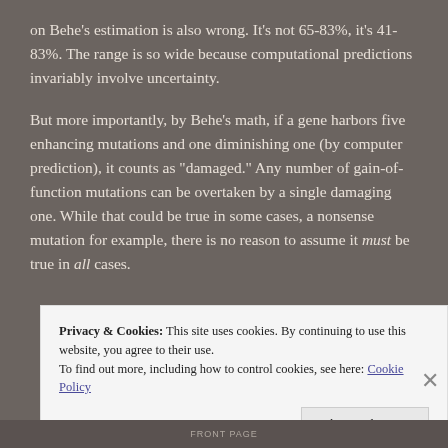on Behe's estimation is also wrong. It's not 65-83%, it's 41-83%. The range is so wide because computational predictions invariably involve uncertainty.
But more importantly, by Behe's math, if a gene harbors five enhancing mutations and one diminishing one (by computer prediction), it counts as "damaged." Any number of gain-of-function mutations can be overtaken by a single damaging one. While that could be true in some cases, a nonsense mutation for example, there is no reason to assume it must be true in all cases.
Privacy & Cookies: This site uses cookies. By continuing to use this website, you agree to their use. To find out more, including how to control cookies, see here: Cookie Policy